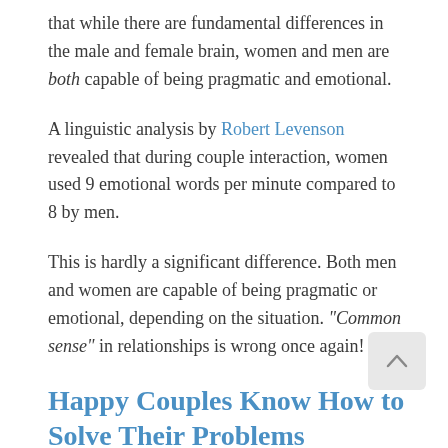that while there are fundamental differences in the male and female brain, women and men are both capable of being pragmatic and emotional.
A linguistic analysis by Robert Levenson revealed that during couple interaction, women used 9 emotional words per minute compared to 8 by men.
This is hardly a significant difference. Both men and women are capable of being pragmatic or emotional, depending on the situation. "Common sense" in relationships is wrong once again!
Happy Couples Know How to Solve Their Problems
This false myth is still in vogue, particularly with poorly trained, "all-purpose" couples therapists.